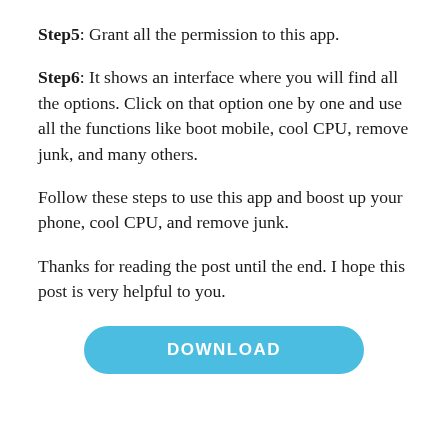Step5: Grant all the permission to this app.
Step6: It shows an interface where you will find all the options. Click on that option one by one and use all the functions like boot mobile, cool CPU, remove junk, and many others.
Follow these steps to use this app and boost up your phone, cool CPU, and remove junk.
Thanks for reading the post until the end. I hope this post is very helpful to you.
[Figure (other): Blue rounded rectangle button with text DOWNLOAD]